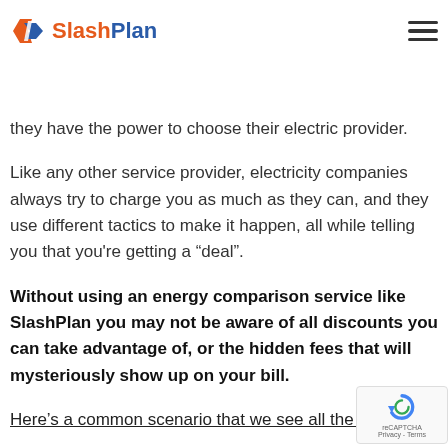SlashPlan [logo]
they have the power to choose their electric provider.
Like any other service provider, electricity companies always try to charge you as much as they can, and they use different tactics to make it happen, all while telling you that you're getting a “deal”.
Without using an energy comparison service like SlashPlan you may not be aware of all discounts you can take advantage of, or the hidden fees that will mysteriously show up on your bill.
Here’s a common scenario that we see all the time: